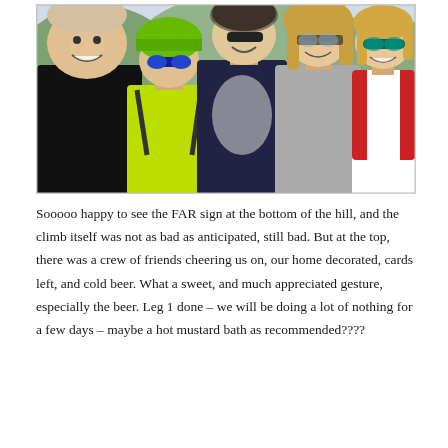[Figure (photo): Group selfie photo of five people outdoors. On the left is a tall smiling man in a black shirt. Next to him is a woman in a neon green jacket wearing a green helmet and sunglasses. In the center is a person in black and white cycling gear. To the right is a woman in a gray shirt with glasses, and on the far right is a woman in a red vest with sunglasses, smiling.]
Sooooo happy to see the FAR sign at the bottom of the hill, and the climb itself was not as bad as anticipated, still bad. But at the top, there was a crew of friends cheering us on, our home decorated, cards left, and cold beer. What a sweet, and much appreciated gesture, especially the beer. Leg 1 done – we will be doing a lot of nothing for a few days – maybe a hot mustard bath as recommended????